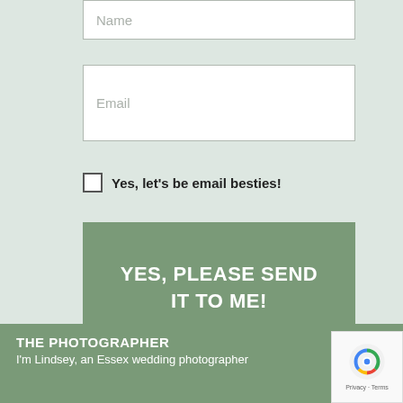Name
Email
Yes, let's be email besties!
YES, PLEASE SEND IT TO ME!
THE PHOTOGRAPHER
I'm Lindsey, an Essex wedding photographer